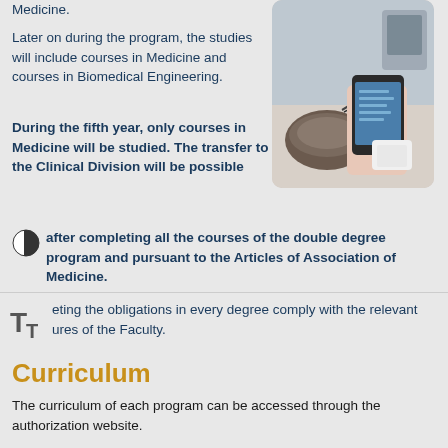Medicine.
[Figure (photo): A person holding a tablet/smartphone device next to a medical or scientific specimen, likely in a lab or clinical setting.]
Later on during the program, the studies will include courses in Medicine and courses in Biomedical Engineering.
During the fifth year, only courses in Medicine will be studied.  The transfer to the Clinical Division will be possible after completing all the courses of the double degree program and pursuant to the Articles of Association of Medicine.
eting the obligations in every degree comply with the relevant ures of the Faculty.
Curriculum
The curriculum of each program can be accessed through the authorization website.